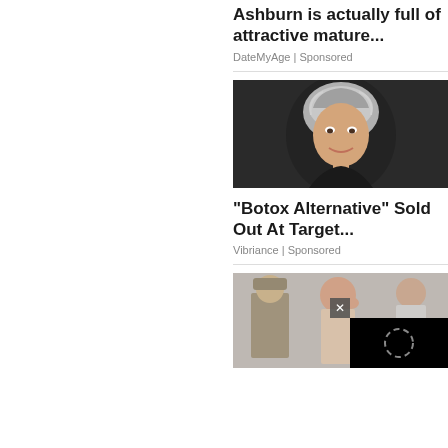Ashburn is actually full of attractive mature...
DateMyAge | Sponsored
[Figure (photo): Photo of a middle-aged woman with short grey hair smiling against a dark background]
"Botox Alternative" Sold Out At Target...
Vibriance | Sponsored
[Figure (photo): Photo of people including a police officer and a woman smiling, with a video player overlay in the bottom right corner]